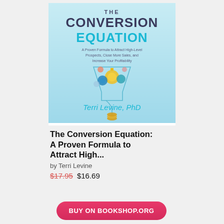[Figure (illustration): Book cover of 'The Conversion Equation' by Terri Levine, PhD. Light blue background with large dark teal title text 'THE CONVERSION EQUATION', subtitle 'A Proven Formula to Attract High-Level Prospects, Close More Sales, and Increase Your Profitability', a funnel graphic with gears and coins, and author name 'Terri Levine, PhD' in teal at the bottom.]
The Conversion Equation: A Proven Formula to Attract High...
by Terri Levine
$17.95  $16.69
BUY ON BOOKSHOP.ORG